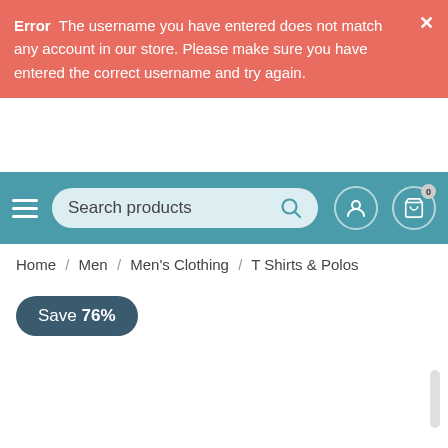Error  The username you have entered does not match any account in our store. Please make sure you have entered the correct username and try again.
[Figure (screenshot): E-commerce website navigation bar with hamburger menu, search box labelled 'Search products', user account icon, and cart icon with badge '0']
Home / Men / Men's Clothing / T Shirts & Polos
Save 76%